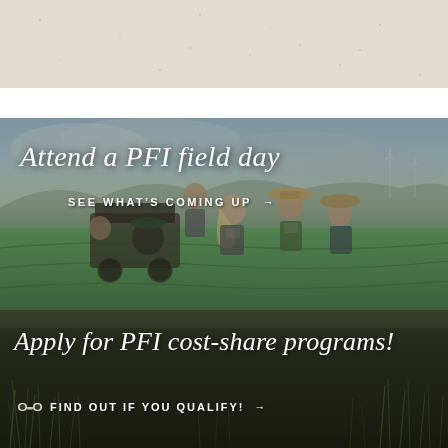[Figure (photo): Top cream/beige textured background section]
[Figure (photo): Photo of people smiling on a farm field day tour with green fields and stormy sky in background]
Attend a PFI field day
SEE WHAT'S COMING UP →
[Figure (photo): Dark green grass field background for cost-share section]
Apply for PFI cost-share programs!
🔭 FIND OUT IF YOU QUALIFY! →